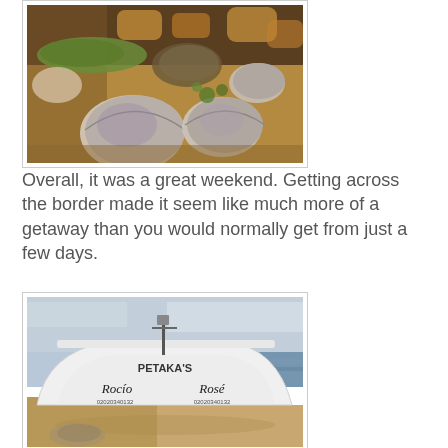[Figure (photo): Close-up photo of seafood dish with clams, mussels, and other shellfish on a plate with rice and vegetables]
Overall, it was a great weekend. Getting across the border made it seem like much more of a getaway than you would normally get from just a few days.
[Figure (photo): Photo of a white fishing boat named PETAKA'S on a sandy beach with ocean and cloudy sky in the background]